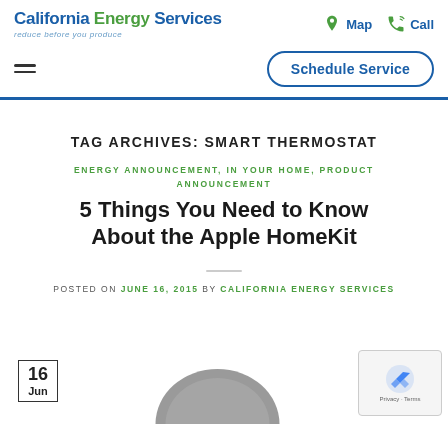California Energy Services — reduce before you produce | Map | Call
[Figure (logo): California Energy Services logo with tagline 'reduce before you produce', plus Map and Call icons on the right]
[Figure (screenshot): Schedule Service button (rounded rectangle, dark blue outline) and hamburger menu icon]
TAG ARCHIVES: SMART THERMOSTAT
ENERGY ANNOUNCEMENT, IN YOUR HOME, PRODUCT ANNOUNCEMENT
5 Things You Need to Know About the Apple HomeKit
POSTED ON JUNE 16, 2015 BY CALIFORNIA ENERGY SERVICES
[Figure (other): Date badge showing '16 Jun' and partial thermostat image at bottom, plus reCAPTCHA widget overlay]